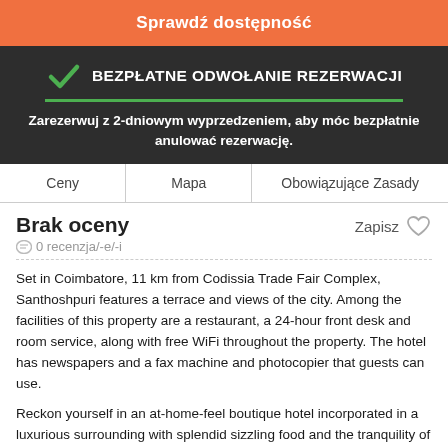Sprawdź dostępność
BEZPŁATNE ODWOŁANIE REZERWACJI
Zarezerwuj z 2-dniowym wyprzedzeniem, aby móc bezpłatnie anulować rezerwację.
Ceny | Mapa | Obowiązujące Zasady
Brak oceny
Zapisz
0 recenzja/-e/-i
Set in Coimbatore, 11 km from Codissia Trade Fair Complex, Santhoshpuri features a terrace and views of the city. Among the facilities of this property are a restaurant, a 24-hour front desk and room service, along with free WiFi throughout the property. The hotel has newspapers and a fax machine and photocopier that guests can use.
Reckon yourself in an at-home-feel boutique hotel incorporated in a luxurious surrounding with splendid sizzling food and the tranquility of the outskirts of Coimbatore...